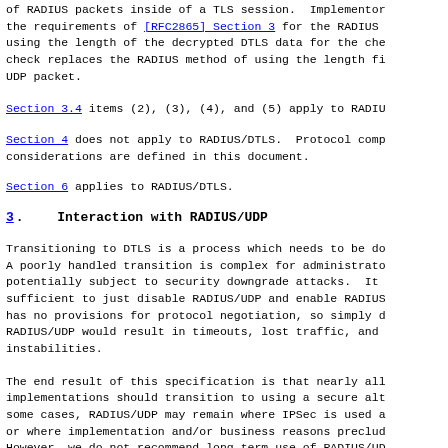of RADIUS packets inside of a TLS session. Implementors the requirements of [RFC2865] Section 3 for the RADIUS using the length of the decrypted DTLS data for the check replaces the RADIUS method of using the length fi UDP packet.
Section 3.4 items (2), (3), (4), and (5) apply to RADIUS
Section 4 does not apply to RADIUS/DTLS. Protocol comp considerations are defined in this document.
Section 6 applies to RADIUS/DTLS.
3.  Interaction with RADIUS/UDP
Transitioning to DTLS is a process which needs to be do A poorly handled transition is complex for administrato potentially subject to security downgrade attacks. It sufficient to just disable RADIUS/UDP and enable RADIUS has no provisions for protocol negotiation, so simply d RADIUS/UDP would result in timeouts, lost traffic, and instabilities.
The end result of this specification is that nearly all implementations should transition to using a secure alt some cases, RADIUS/UDP may remain where IPSec is used a or where implementation and/or business reasons preclud However, we do not recommend long-term use of RADIUS/UD isolated and secure networks.